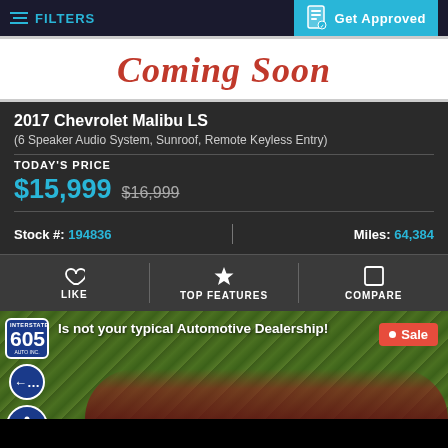FILTERS | Get Approved
[Figure (illustration): Coming Soon banner image in red cursive text on white background]
2017 Chevrolet Malibu LS
(6 Speaker Audio System, Sunroof, Remote Keyless Entry)
TODAY'S PRICE $15,999 $16,999
Stock #: 194836 | Miles: 64,384
LIKE | TOP FEATURES | COMPARE
[Figure (photo): Interstate 605 Auto Inc. dealership advertisement banner with car image. Text: Is not your typical Automotive Dealership! Sale badge shown.]